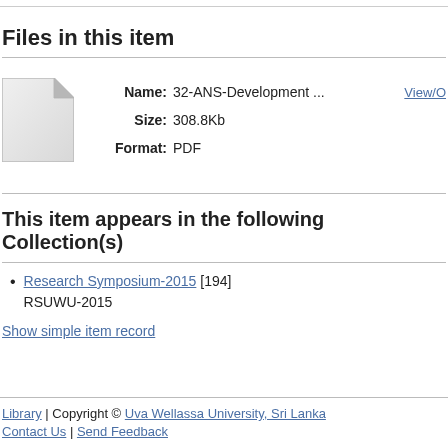Files in this item
[Figure (illustration): Generic file/document icon (white page with folded corner)]
Name: 32-ANS-Development ...  Size: 308.8Kb  Format: PDF
View/O
This item appears in the following Collection(s)
Research Symposium-2015 [194]
RSUWU-2015
Show simple item record
Library | Copyright © Uva Wellassa University, Sri Lanka
Contact Us | Send Feedback